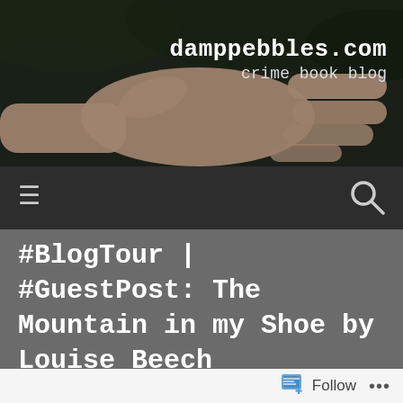[Figure (photo): Website header banner showing a hand pointing fingers against a dark outdoor background, with site name 'damppebbles.com' and tagline 'crime book blog' in white monospace text on the right side]
damppebbles.com
crime book blog
[Figure (infographic): Dark navigation bar with hamburger menu icon on the left and search (magnifying glass) icon on the right]
#BlogTour | #GuestPost: The Mountain in my Shoe by Louise Beech (@LouiseWriter) @Orend...
Follow ...